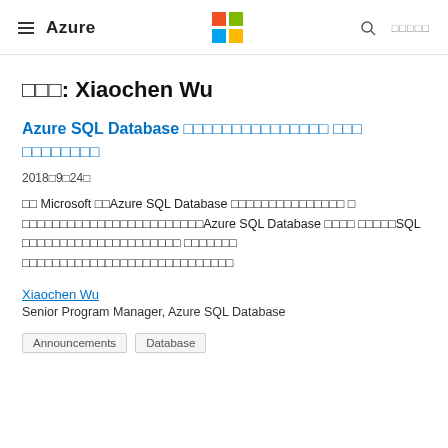≡  Azure   [Microsoft logo]   🔍   □□□□□
□□□: Xiaochen Wu
Azure SQL Database □□□□□□□□□□□□□□□ □□□ □□□□□□□□
2018□9□24□
□□ Microsoft □□Azure SQL Database □□□□□□□□□□□□□□□ □ □□□□□□□□□□□□□□□□□□□□□□□□Azure SQL Database □□□□ □□□□□SQL □□□□□□□□□□□□□□□□□□□□□ □□□□□□□ □□□□□□□□□□□□□□□□□□□□□□□□□□□□
Xiaochen Wu
Senior Program Manager, Azure SQL Database
Announcements   Database